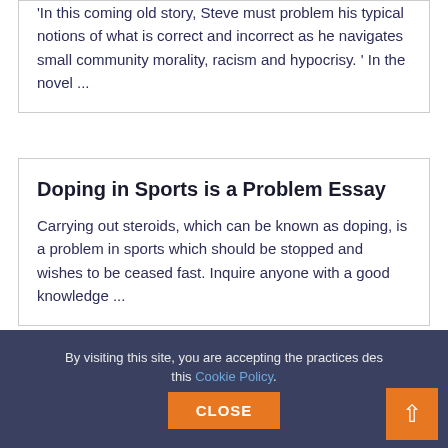'In this coming old story, Steve must problem his typical notions of what is correct and incorrect as he navigates small community morality, racism and hypocrisy. ' In the novel ...
Doping in Sports is a Problem Essay
Carrying out steroids, which can be known as doping, is a problem in sports which should be stopped and wishes to be ceased fast. Inquire anyone with a good knowledge ...
Internalization theory best explains CEMEX's FDI Essay
By visiting this site, you are accepting the practices des this Cookie Policy. CLOSE